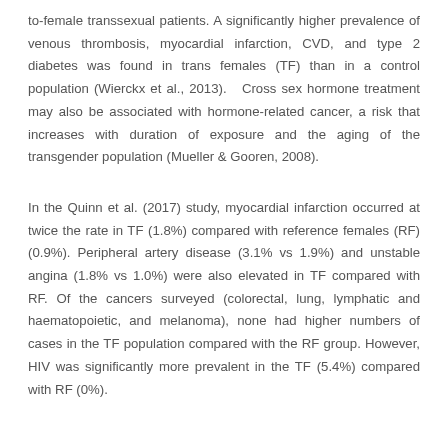to-female transsexual patients. A significantly higher prevalence of venous thrombosis, myocardial infarction, CVD, and type 2 diabetes was found in trans females (TF) than in a control population (Wierckx et al., 2013).  Cross sex hormone treatment may also be associated with hormone-related cancer, a risk that increases with duration of exposure and the aging of the transgender population (Mueller & Gooren, 2008).
In the Quinn et al. (2017) study, myocardial infarction occurred at twice the rate in TF (1.8%) compared with reference females (RF) (0.9%). Peripheral artery disease (3.1% vs 1.9%) and unstable angina (1.8% vs 1.0%) were also elevated in TF compared with RF. Of the cancers surveyed (colorectal, lung, lymphatic and haematopoietic, and melanoma), none had higher numbers of cases in the TF population compared with the RF group. However, HIV was significantly more prevalent in the TF (5.4%) compared with RF (0%).